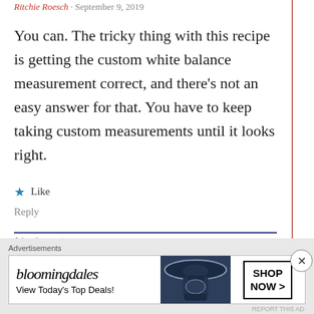Ritchie Roesch · September 9, 2019
You can. The tricky thing with this recipe is getting the custom white balance measurement correct, and there's not an easy answer for that. You have to keep taking custom measurements until it looks right.
★ Like
Reply
Advertisements
[Figure (other): Advertisement banner: ThePlatform Where WordPress Works Best — Pressable]
REPORT THIS AD
Advertisements
[Figure (other): Bloomingdales advertisement banner: 'bloomingdales View Today's Top Deals! SHOP NOW >']